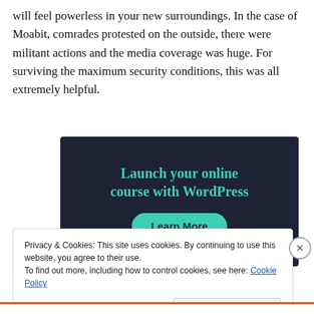will feel powerless in your new surroundings. In the case of Moabit, comrades protested on the outside, there were militant actions and the media coverage was huge. For surviving the maximum security conditions, this was all extremely helpful.
[Figure (other): Advertisement banner with dark navy background. Text reads 'Launch your online course with WordPress' in teal/turquoise color. Below is a teal rounded button labeled 'Learn More'.]
Privacy & Cookies: This site uses cookies. By continuing to use this website, you agree to their use.
To find out more, including how to control cookies, see here: Cookie Policy
Close and accept